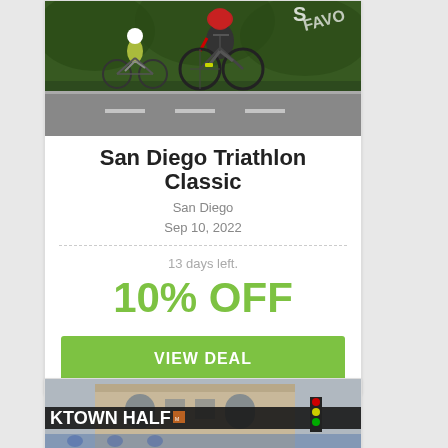[Figure (photo): Cyclists racing during the San Diego Triathlon Classic, two riders on road bikes with helmets]
San Diego Triathlon Classic
San Diego
Sep 10, 2022
13 days left.
10% OFF
VIEW DEAL
[Figure (photo): Street banner reading 'KTOWN HALF' with a large building in the background and traffic lights]